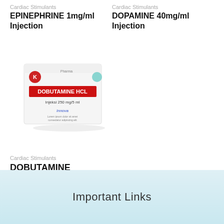Cardiac Stimulants
EPINEPHRINE 1mg/ml Injection
Cardiac Stimulants
DOPAMINE 40mg/ml Injection
[Figure (photo): Product box of Dobutamine HCL Injeksi 250mg/5ml]
Cardiac Stimulants
DOBUTAMINE 250mg/5ml Injection
Important Links